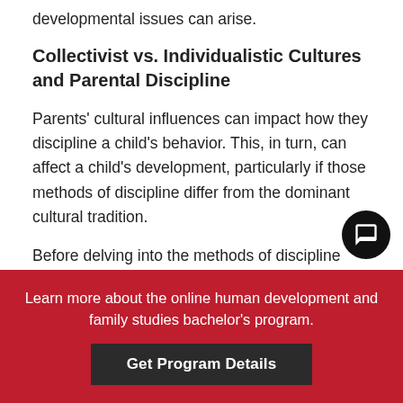developmental issues can arise.
Collectivist vs. Individualistic Cultures and Parental Discipline
Parents' cultural influences can impact how they discipline a child's behavior. This, in turn, can affect a child's development, particularly if those methods of discipline differ from the dominant cultural tradition.
Before delving into the methods of discipline and culture, what do the terms “collectivist” and “individualistic” mean exactly? Essentially, a collectivist culture values and rewards the prioritization of
Learn more about the online human development and family studies bachelor's program.
Get Program Details